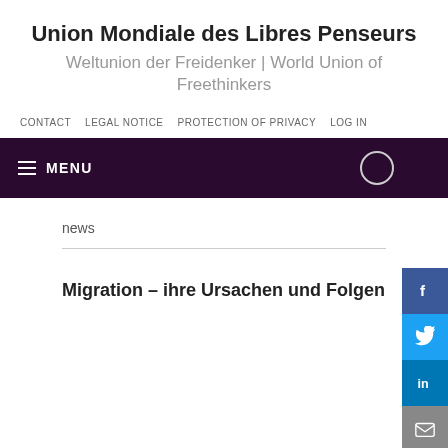Union Mondiale des Libres Penseurs
Weltunion der Freidenker | World Union of Freethinkers
CONTACT   LEGAL NOTICE   PROTECTION OF PRIVACY   LOG IN
≡  MENU
news
Migration – ihre Ursachen und Folgen